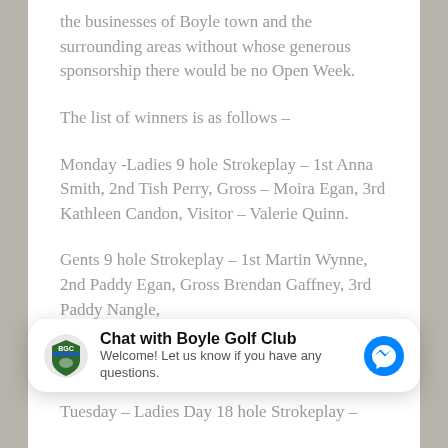the businesses of Boyle town and the surrounding areas without whose generous sponsorship there would be no Open Week.
The list of winners is as follows –
Monday -Ladies 9 hole Strokeplay – 1st Anna Smith, 2nd Tish Perry, Gross – Moira Egan, 3rd Kathleen Candon, Visitor – Valerie Quinn.
Gents 9 hole Strokeplay – 1st Martin Wynne, 2nd Paddy Egan, Gross Brendan Gaffney, 3rd Paddy Nangle,
[Figure (screenshot): Chat widget overlay: logo of Boyle Golf Club (shield with green and blue), bold title 'Chat with Boyle Golf Club', subtitle 'Welcome! Let us know if you have any questions.', and blue Messenger icon on the right.]
Tuesday – Ladies Day 18 hole Strokeplay –